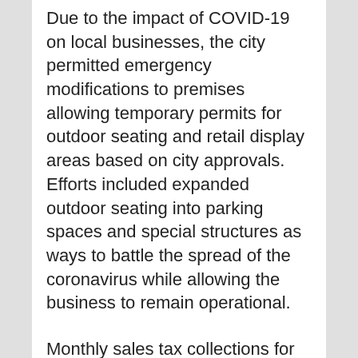Due to the impact of COVID-19 on local businesses, the city permitted emergency modifications to premises allowing temporary permits for outdoor seating and retail display areas based on city approvals. Efforts included expanded outdoor seating into parking spaces and special structures as ways to battle the spread of the coronavirus while allowing the business to remain operational.
Monthly sales tax collections for the city have come in double digit percentages above previous same time periods since March 2021 and continue to show robust activity.
Currently, outdoor display and seating areas may require approval by the city. Seating and display located within the public right-of-way (sidewalk) may be permitted with approval of a Type B Revocable License. Contact Planning &